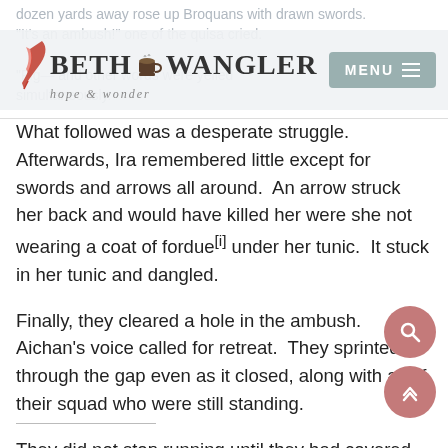dozen yards away rose up Broquans with drawn swords. "It's an ambush!" one of the quisa cried.
[Figure (logo): Beth Wangler logo with quill pen, coffee cup, and tagline 'hope & wonder', alongside a teal MENU button with hamburger icon]
"Fight!" and other words were yelled simultaneously.
What followed was a desperate struggle.  Afterwards, Ira remembered little except for swords and arrows all around.  An arrow struck her back and would have killed her were she not wearing a coat of fordue[i] under her tunic.  It stuck in her tunic and dangled.
Finally, they cleared a hole in the ambush.  Aichan's voice called for retreat.  They sprinted through the gap even as it closed, along with all of their squad who were still standing.
They did not stop running until they had covered more than two miles. Only ten of the quisah were still with t